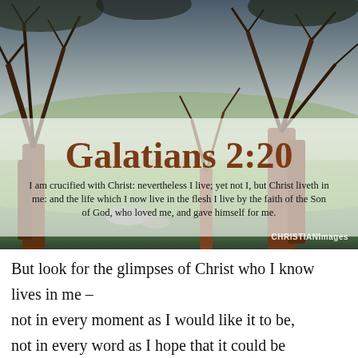[Figure (photo): Outdoor scene with eucalyptus/gum trees in a grassy field, sky visible through bare branches. Overlaid with a semi-transparent white box containing a Bible verse reference 'Galatians 2:20' in large brown serif font, and the verse text below it. A 'CHRISTIANImages' watermark appears in the bottom right.]
But look for the glimpses of Christ who I know lives in me –
not in every moment as I would like it to be,
not in every word as I hope that it could be